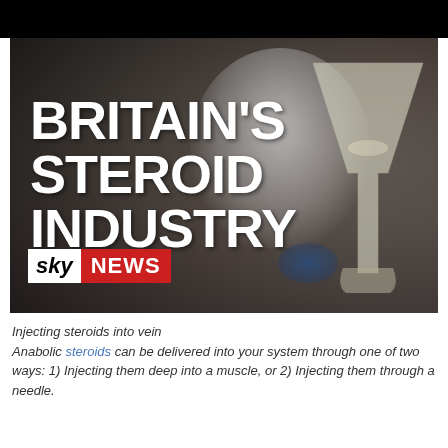[Figure (photo): Sky News thumbnail image showing 'BRITAIN'S STEROID INDUSTRY' text overlay on a dark background with blurry lab scene featuring a person in white lab coat and a large funnel/flask with liquid. Sky News logo in bottom-left corner.]
Injecting steroids into vein
Anabolic steroids can be delivered into your system through one of two ways: 1) Injecting them deep into a muscle, or 2) Injecting them through a needle.